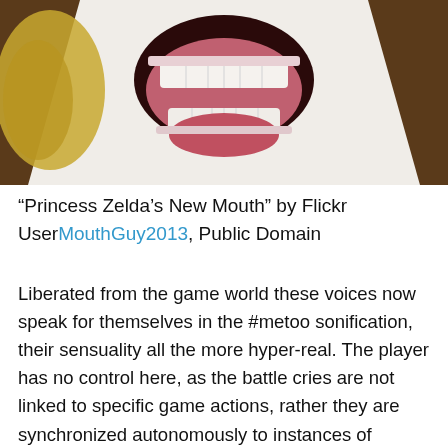[Figure (illustration): Close-up illustration of an open mouth of a white/cream colored character (Princess Zelda from a video game), showing teeth, tongue, and interior of mouth. Golden decorative elements visible on the left side against a dark brown background.]
“Princess Zelda’s New Mouth” by Flickr User MouthGuy2013, Public Domain
Liberated from the game world these voices now speak for themselves in the #metoo sonification, their sensuality all the more hyper-real. The player has no control here, as the battle cries are not linked to specific game actions, rather they are synchronized autonomously to instances of #metoo confessionals.  In fact, the density of the sonification as time speeds up will overwhelm listeners with its boundlessness; echoing how contemporary media